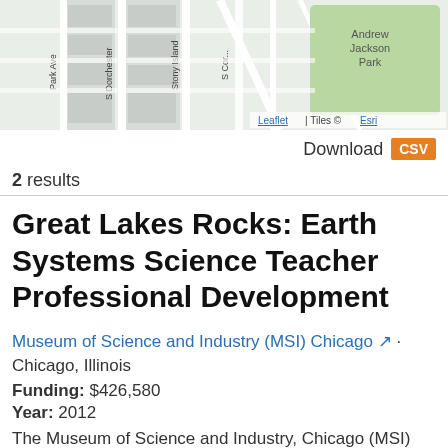[Figure (map): Street map showing Andrew Jackson Park area in Chicago, Illinois. Roads visible include Park Ave, S Dorchester, Stony Island, S Cornell. Map attribution: Leaflet | Tiles © Esri.]
Download CSV
2 results
Great Lakes Rocks: Earth Systems Science Teacher Professional Development
Museum of Science and Industry (MSI) Chicago [external link] · Chicago, Illinois
Funding: $426,580
Year: 2012
The Museum of Science and Industry, Chicago (MSI) offers teacher professional development